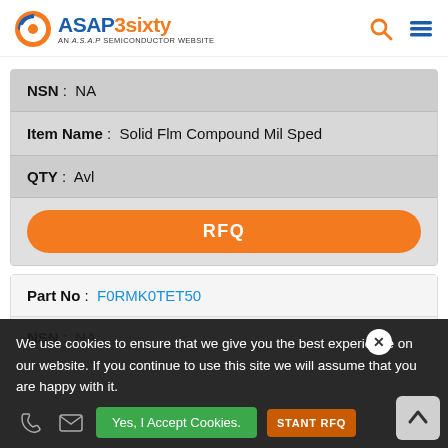ASAP3sixty - AN A.S.A.P SEMICONDUCTOR WEBSITE
| Field | Value |
| --- | --- |
| NSN | NA |
| Item Name | Solid Flm Compound Mil Sped |
| QTY | Avl |
| Field | Value |
| --- | --- |
| Part No | F0RMK0TET50 |
| NSN | NA |
We use cookies to ensure that we give you the best experience on our website. If you continue to use this site we will assume that you are happy with it.
Yes, I Accept Cookies.